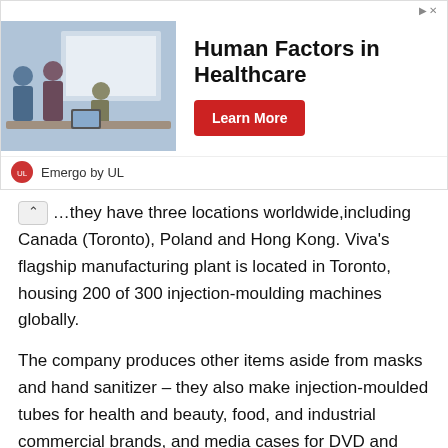[Figure (screenshot): Advertisement banner for 'Human Factors in Healthcare' by Emergo by UL, with a photo of people in a meeting room, a red 'Learn More' button, and navigation arrows.]
...they have three locations worldwide,including Canada (Toronto), Poland and Hong Kong. Viva's flagship manufacturing plant is located in Toronto, housing 200 of 300 injection-moulding machines globally.
The company produces other items aside from masks and hand sanitizer – they also make injection-moulded tubes for health and beauty, food, and industrial commercial brands, and media cases for DVD and gaming manufacturers.
With projections like these, Viva will easily make